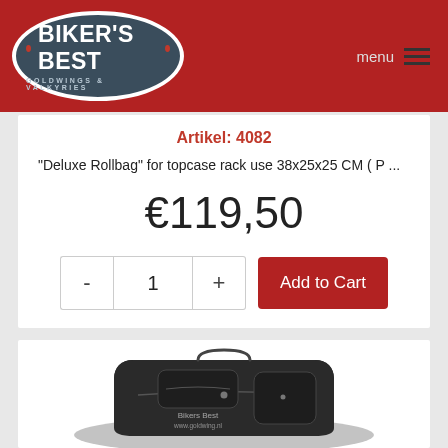BIKER'S BEST GOLDWINGS & VALKYRIES
Artikel: 4082
"Deluxe Rollbag" for topcase rack use 38x25x25 CM ( P ...
€119,50
[Figure (screenshot): Add to cart UI with quantity selector (-, 1, +) and red 'Add to Cart' button]
[Figure (photo): Black motorcycle roll bag with zipper pockets, Bikers Best branding watermark visible]